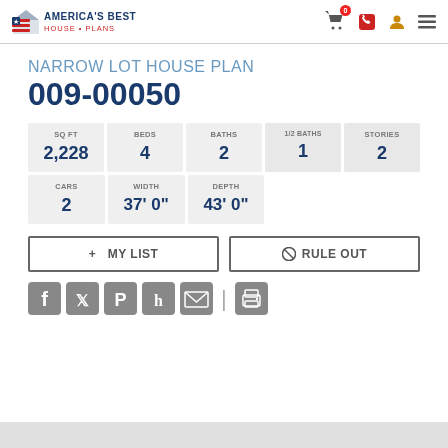America's Best House Plans
NARROW LOT HOUSE PLAN
009-00050
| SQ FT | BEDS | BATHS | 1/2 BATHS | STORIES |
| --- | --- | --- | --- | --- |
| 2,228 | 4 | 2 | 1 | 2 |
| CARS | WIDTH | DEPTH |
| --- | --- | --- |
| 2 | 37' 0" | 43' 0" |
+ MY LIST
⊘ RULE OUT